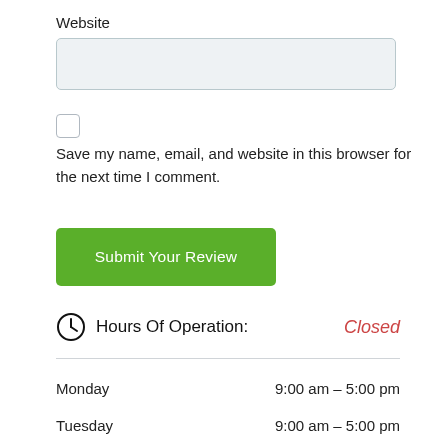Website
Save my name, email, and website in this browser for the next time I comment.
Submit Your Review
Hours Of Operation: Closed
| Day | Hours |
| --- | --- |
| Monday | 9:00 am – 5:00 pm |
| Tuesday | 9:00 am – 5:00 pm |
| Wednesday | 9:00 am – 5:00 pm |